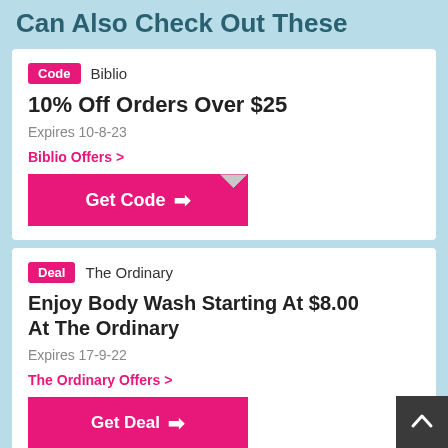Can Also Check Out These
Code  Biblio
10% Off Orders Over $25
Expires 10-8-23
Biblio Offers >
Get Code →
Deal  The Ordinary
Enjoy Body Wash Starting At $8.00 At The Ordinary
Expires 17-9-22
The Ordinary Offers >
Get Deal →